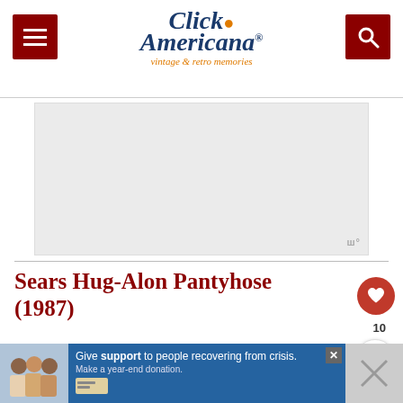Click Americana — vintage & retro memories
[Figure (screenshot): Gray advertisement placeholder box with watermark 'W°' in bottom right]
Sears Hug-Alon Pantyhose (1987)
[Figure (photo): Vintage 1987 Sears Hug-Alon Pantyhose advertisement showing text 'Sears regular $1.79 Hug-alon Pantyhose with better than ever new fea...' over a colorful background. A 'What's Next' panel shows 'Vintage '80s tech: See...']
[Figure (infographic): Bottom banner ad: Give support to people recovering from crisis. Make a year-end donation.]